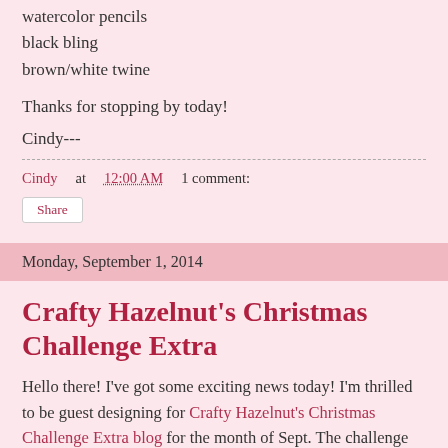watercolor pencils
black bling
brown/white twine
Thanks for stopping by today!
Cindy---
Cindy at 12:00 AM    1 comment:
Share
Monday, September 1, 2014
Crafty Hazelnut's Christmas Challenge Extra
Hello there!  I've got some exciting news today!  I'm thrilled to be guest designing for Crafty Hazelnut's Christmas Challenge Extra blog for the month of Sept.  The challenge runs for the whole month.  And it's anything goes as long as it is Christmas related